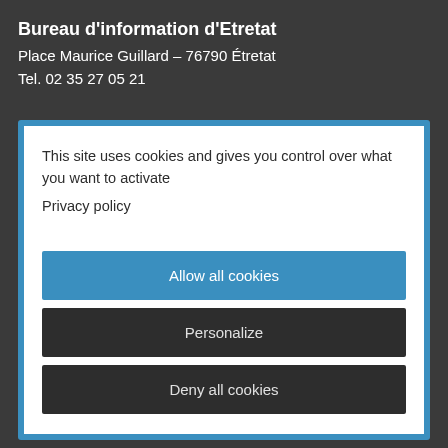Bureau d'information d'Etretat
Place Maurice Guillard – 76790 Étretat
Tel. 02 35 27 05 21
This site uses cookies and gives you control over what you want to activate
Privacy policy
Allow all cookies
Personalize
Deny all cookies